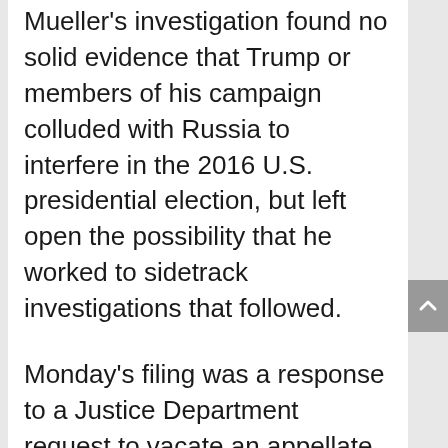Mueller's investigation found no solid evidence that Trump or members of his campaign colluded with Russia to interfere in the 2016 U.S. presidential election, but left open the possibility that he worked to sidetrack investigations that followed.
Monday's filing was a response to a Justice Department request to vacate an appellate court ruling in March that upheld a lower-court finding that Congress has a right to obtain the grand jury materials.